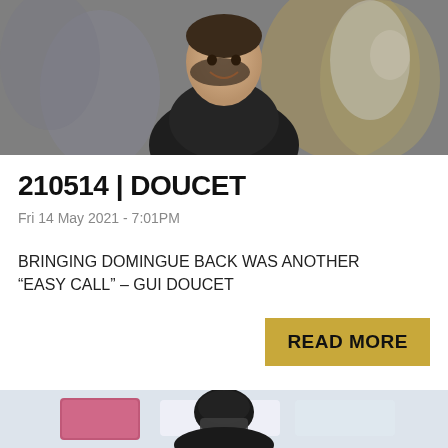[Figure (photo): A smiling man in a dark jacket, appearing to be a hockey coach or staff member, with blurred hockey players in the background wearing orange/gold and grey uniforms.]
210514 | DOUCET
Fri 14 May 2021 - 7:01PM
BRINGING DOMINGUE BACK WAS ANOTHER “EASY CALL” – GUI DOUCET
READ MORE
[Figure (photo): A hockey player wearing a black helmet with number 77, visible from the shoulders up, in front of rink-side advertising boards including what appears to be a Pandora advertisement.]